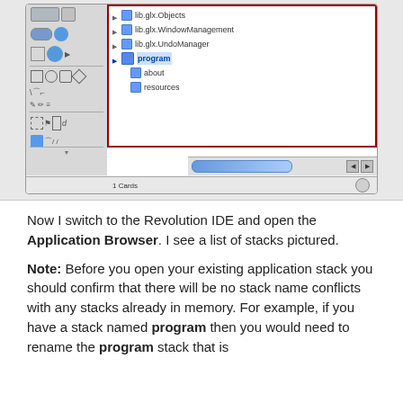[Figure (screenshot): Revolution IDE Application Browser screenshot showing a tree panel with lib.glx.Objects, lib.glx.WindowManagement, lib.glx.UndoManager, program (selected/highlighted), about, and resources entries. Left side shows a toolbar with various tool icons. Bottom has a horizontal scrollbar and '1 Cards' status.]
Now I switch to the Revolution IDE and open the Application Browser. I see a list of stacks pictured.
Note: Before you open your existing application stack you should confirm that there will be no stack name conflicts with any stacks already in memory. For example, if you have a stack named program then you would need to rename the program stack that is